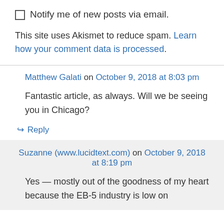Notify me of new posts via email.
This site uses Akismet to reduce spam. Learn how your comment data is processed.
Matthew Galati on October 9, 2018 at 8:03 pm
Fantastic article, as always. Will we be seeing you in Chicago?
↪ Reply
Suzanne (www.lucidtext.com) on October 9, 2018 at 8:19 pm
Yes — mostly out of the goodness of my heart because the EB-5 industry is low on